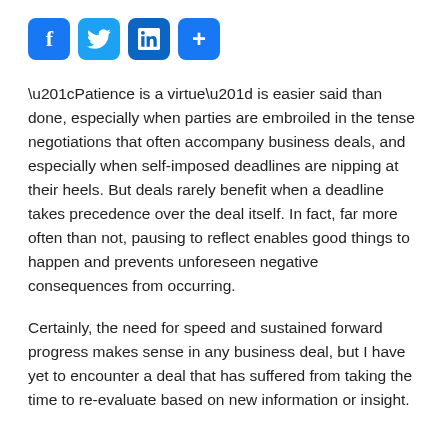[Figure (other): Social media share icons: Facebook, Twitter, LinkedIn, Plus/Share]
“Patience is a virtue” is easier said than done, especially when parties are embroiled in the tense negotiations that often accompany business deals, and especially when self-imposed deadlines are nipping at their heels. But deals rarely benefit when a deadline takes precedence over the deal itself. In fact, far more often than not, pausing to reflect enables good things to happen and prevents unforeseen negative consequences from occurring.
Certainly, the need for speed and sustained forward progress makes sense in any business deal, but I have yet to encounter a deal that has suffered from taking the time to re-evaluate based on new information or insight.